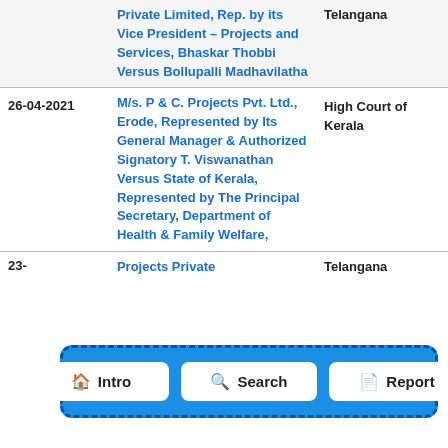| Date | Case | Court |
| --- | --- | --- |
|  | Private Limited, Rep. by its Vice President – Projects and Services, Bhaskar Thobbi Versus Bollupalli Madhavilatha | Telangana |
| 26-04-2021 | M/s. P & C. Projects Pvt. Ltd., Erode, Represented by Its General Manager & Authorized Signatory T. Viswanathan Versus State of Kerala, Represented by The Principal Secretary, Department of Health & Family Welfare, Government... | High Court of Kerala |
| 23-... | Projects Private | Telangana |
[Figure (other): Navigation bar overlay with three buttons: Intro (home icon), Search (magnifying glass icon), Report (document icon), displayed over the table on a blue dashed-border background]